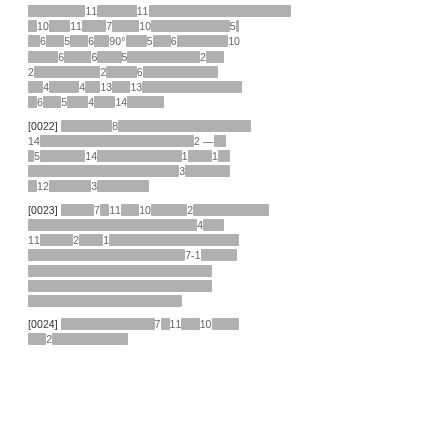[continuation of redacted paragraph with numbers 10, 11, 7, 10, 5, 6, 5, 6, 90°, 5, 6, 10, 6, 6, 5, 2, 2, 2, 6, 4, 4, 13, 13, 6, 5, 4, 14]
[0022] [redacted paragraph containing numbers 8, 14, 2, 5, 14, 1, 1, 3, 12, 3]
[0023] [redacted paragraph containing numbers 7, 11, 10, 2, 4, 11, 2, 1, 7-1]
[0024] [redacted paragraph containing numbers 7, 11, 10, 2]